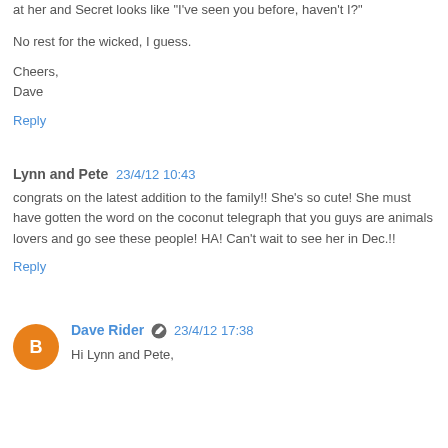at her and Secret looks like "I've seen you before, haven't I?"
No rest for the wicked, I guess.
Cheers,
Dave
Reply
Lynn and Pete  23/4/12 10:43
congrats on the latest addition to the family!! She's so cute! She must have gotten the word on the coconut telegraph that you guys are animals lovers and go see these people! HA! Can't wait to see her in Dec.!!
Reply
Dave Rider  23/4/12 17:38
Hi Lynn and Pete,